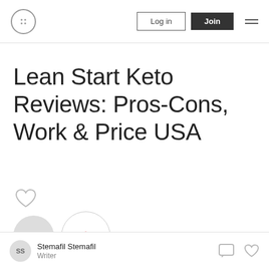Log in | Join
Lean Start Keto Reviews: Pros-Cons, Work & Price USA
Stemafil Stemafil · Writer